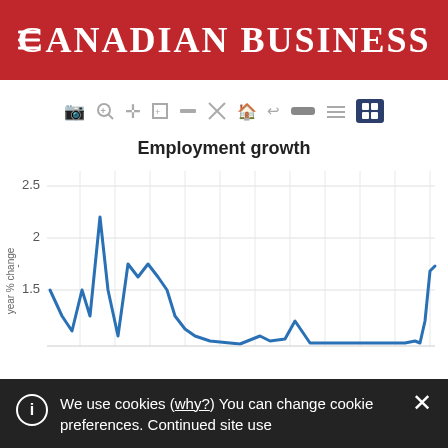CANADIAN BUSINESS
[Figure (continuous-plot): Line chart showing employment growth (year-over-year % change). The line starts around 1.5, dips, peaks near 2.2, falls, fluctuates around 1.3-1.5, then drops near 0, stays very low for an extended period, and rises sharply to about 1.6 at the right edge. Y-axis shows values 1.5, 2, 2.5.]
We use cookies (why?) You can change cookie preferences. Continued site use